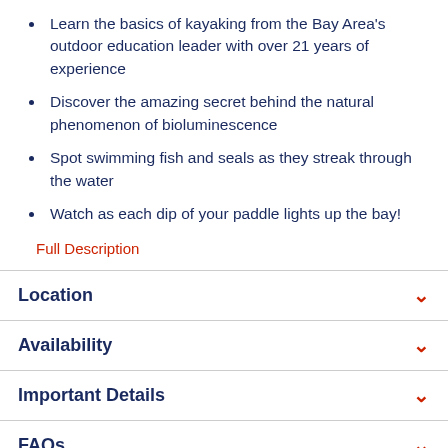Learn the basics of kayaking from the Bay Area's outdoor education leader with over 21 years of experience
Discover the amazing secret behind the natural phenomenon of bioluminescence
Spot swimming fish and seals as they streak through the water
Watch as each dip of your paddle lights up the bay!
Full Description
Location
Availability
Important Details
FAQs